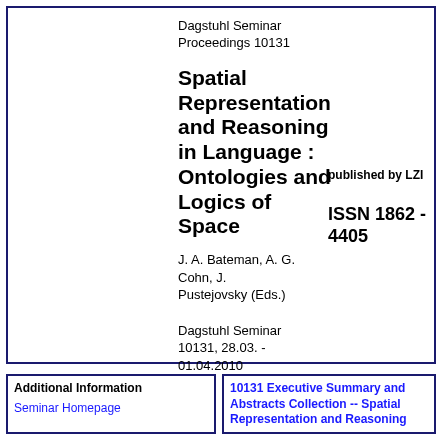Dagstuhl Seminar Proceedings 10131
Spatial Representation and Reasoning in Language : Ontologies and Logics of Space
published by LZI
ISSN 1862 - 4405
J. A. Bateman, A. G. Cohn, J. Pustejovsky (Eds.)
Dagstuhl Seminar 10131, 28.03. - 01.04.2010
Additional Information
Seminar Homepage
10131 Executive Summary and Abstracts Collection -- Spatial Representation and Reasoning